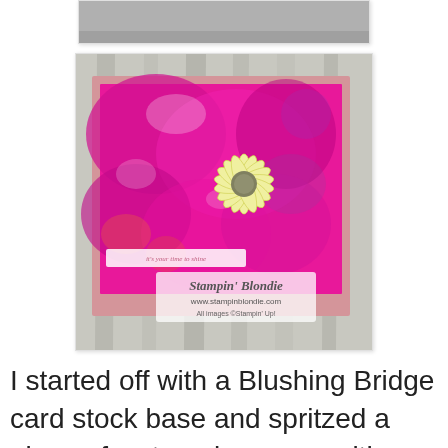[Figure (photo): Partial top of a crafting card image, gray background visible at top]
[Figure (photo): A handmade greeting card with vivid pink/magenta watercolor background and a yellow daisy flower die-cut. Text on card reads 'it's your time to shine'. Watermarked with 'Stampin' Blondie www.stampinblondie.com All images ©Stampin' Up!' Placed on gray wood background.]
I started off with a Blushing Bridge card stock base and spritzed a piece of watercolor paper with water and